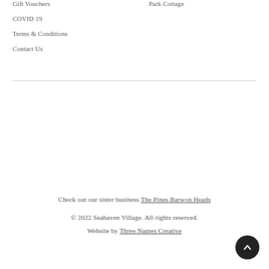Gift Vouchers
COVID 19
Terms & Conditions
Contact Us
Park Cottage
Check out our sister business The Pines Barwon Heads
© 2022 Seahaven Village. All rights reserved.
Website by Three Names Creative